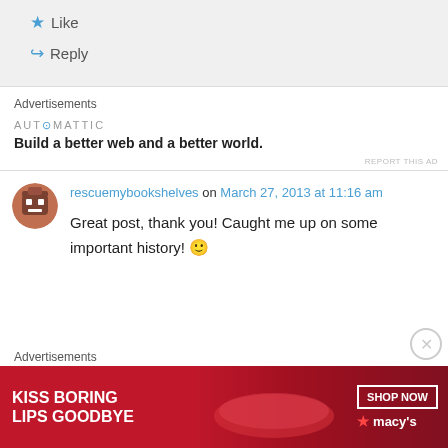★ Like
↪ Reply
Advertisements
[Figure (logo): Automattic logo text with tagline: Build a better web and a better world.]
REPORT THIS AD
rescuemybookshelves on March 27, 2013 at 11:16 am
Great post, thank you! Caught me up on some important history! 🙂
Advertisements
[Figure (illustration): Macy's ad banner: KISS BORING LIPS GOODBYE with SHOP NOW button and Macy's star logo]